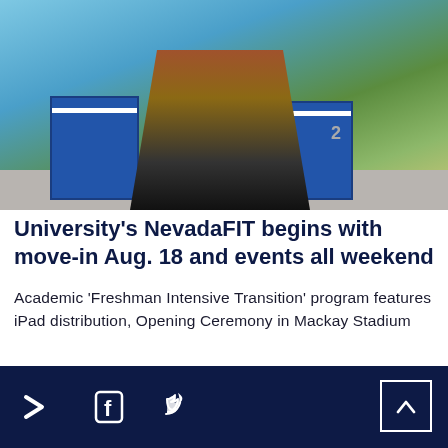[Figure (photo): Students moving in with blue laundry-style carts on a sunny campus plaza. Three people visible, one wearing a shirt that says MOM.]
University's NevadaFIT begins with move-in Aug. 18 and events all weekend
Academic 'Freshman Intensive Transition' program features iPad distribution, Opening Ceremony in Mackay Stadium
Share icons: forward arrow, Facebook, Twitter. Back to top button.